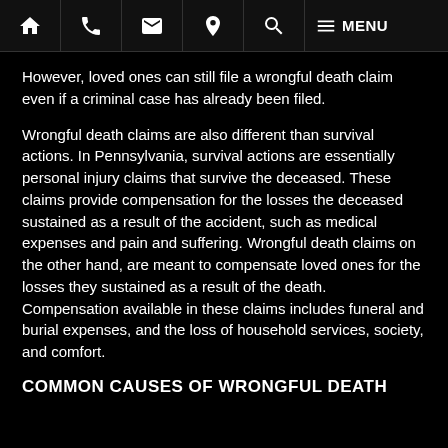Navigation bar with home, phone, email, location, search, and menu icons
However, loved ones can still file a wrongful death claim even if a criminal case has already been filed.
Wrongful death claims are also different than survival actions. In Pennsylvania, survival actions are essentially personal injury claims that survive the deceased. These claims provide compensation for the losses the deceased sustained as a result of the accident, such as medical expenses and pain and suffering. Wrongful death claims on the other hand, are meant to compensate loved ones for the losses they sustained as a result of the death. Compensation available in these claims includes funeral and burial expenses, and the loss of household services, society, and comfort.
COMMON CAUSES OF WRONGFUL DEATH